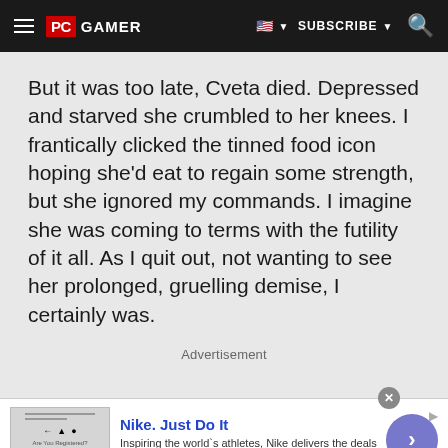PC GAMER | SUBSCRIBE
But it was too late, Cveta died. Depressed and starved she crumbled to her knees. I frantically clicked the tinned food icon hoping she'd eat to regain some strength, but she ignored my commands. I imagine she was coming to terms with the futility of it all. As I quit out, not wanting to see her prolonged, gruelling demise, I certainly was.
Advertisement
[Figure (other): Nike advertisement banner with thumbnail, Nike. Just Do It headline, subtitle and call-to-action button]